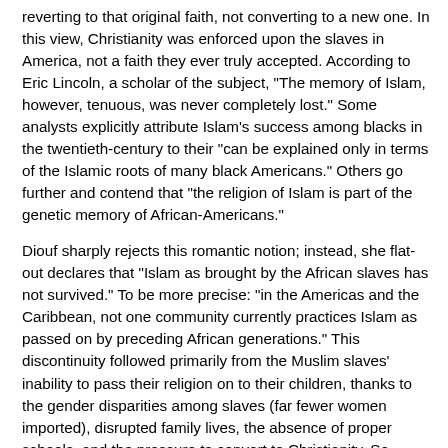reverting to that original faith, not converting to a new one. In this view, Christianity was enforced upon the slaves in America, not a faith they ever truly accepted. According to Eric Lincoln, a scholar of the subject, "The memory of Islam, however, tenuous, was never completely lost." Some analysts explicitly attribute Islam's success among blacks in the twentieth-century to their "can be explained only in terms of the Islamic roots of many black Americans." Others go further and contend that "the religion of Islam is part of the genetic memory of African-Americans."
Diouf sharply rejects this romantic notion; instead, she flat-out declares that "Islam as brought by the African slaves has not survived." To be more precise: "in the Americas and the Caribbean, not one community currently practices Islam as passed on by preceding African generations." This discontinuity followed primarily from the Muslim slaves' inability to pass their religion on to their children, thanks to the gender disparities among slaves (far fewer women imported), disrupted family lives, the absence of proper schools, and the pressure to convert to Christianity. So remote had Islam become that some grandchildren of enslaved Muslims did not even know their grandparents had been Muslims but remembered them as worshippers of the sun and moon (a wildly ignorant interpretation of their